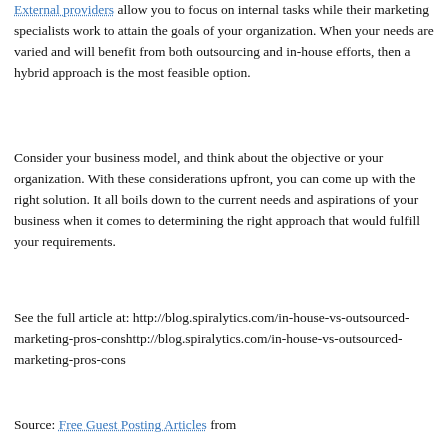External providers allow you to focus on internal tasks while their marketing specialists work to attain the goals of your organization. When your needs are varied and will benefit from both outsourcing and in-house efforts, then a hybrid approach is the most feasible option.
Consider your business model, and think about the objective or your organization. With these considerations upfront, you can come up with the right solution. It all boils down to the current needs and aspirations of your business when it comes to determining the right approach that would fulfill your requirements.
See the full article at: http://blog.spiralytics.com/in-house-vs-outsourced-marketing-pros-conshttp://blog.spiralytics.com/in-house-vs-outsourced-marketing-pros-cons
Source: Free Guest Posting Articles from